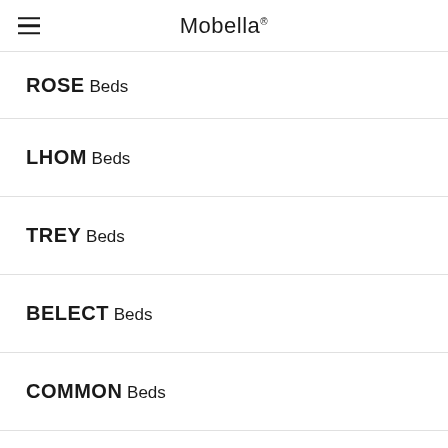Mobella
ROSE Beds
LHOM Beds
TREY Beds
BELECT Beds
COMMON Beds